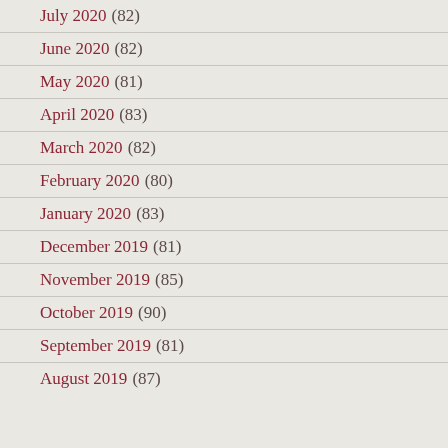July 2020 (82)
June 2020 (82)
May 2020 (81)
April 2020 (83)
March 2020 (82)
February 2020 (80)
January 2020 (83)
December 2019 (81)
November 2019 (85)
October 2019 (90)
September 2019 (81)
August 2019 (87)